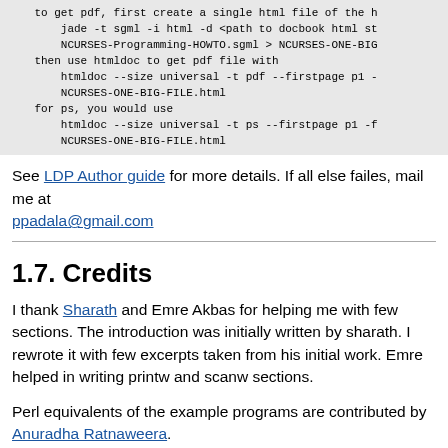to get pdf, first create a single html file of the...
    jade -t sgml -i html -d <path to docbook html st...
    NCURSES-Programming-HOWTO.sgml > NCURSES-ONE-BIG...
then use htmldoc to get pdf file with
    htmldoc --size universal -t pdf --firstpage p1 -...
    NCURSES-ONE-BIG-FILE.html
for ps, you would use
    htmldoc --size universal -t ps --firstpage p1 -f...
    NCURSES-ONE-BIG-FILE.html
See LDP Author guide for more details. If all else failes, mail me at ppadala@gmail.com
1.7. Credits
I thank Sharath and Emre Akbas for helping me with few sections. The introduction was initially written by sharath. I rewrote it with few excerpts taken from his initial work. Emre helped in writing printw and scanw sections.
Perl equivalents of the example programs are contributed by Anuradha Ratnaweera.
Then comes Ravi Parimi, my dearest friend, who has been on this project before even one line was written. He constantly bombarded